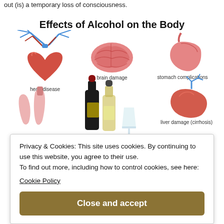out (is) a temporary loss of consciousness.
[Figure (infographic): Infographic titled 'Effects of Alcohol on the Body' showing illustrated organs: heart disease, brain damage, stomach complications, liver damage (cirrhosis), lungs, and two alcohol bottles in the center with a glass. Label at bottom: weakened immune system.]
Privacy & Cookies: This site uses cookies. By continuing to use this website, you agree to their use.
To find out more, including how to control cookies, see here:
Cookie Policy
Close and accept
weakened immune system